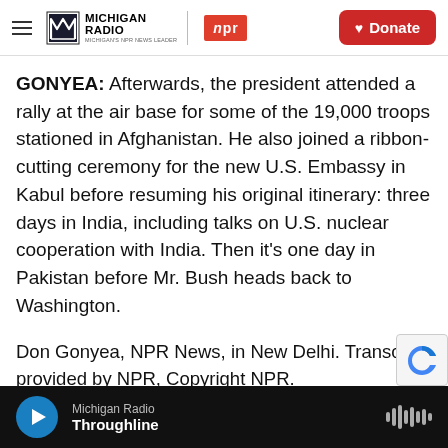Michigan Radio / NPR — Donate
GONYEA: Afterwards, the president attended a rally at the air base for some of the 19,000 troops stationed in Afghanistan. He also joined a ribbon-cutting ceremony for the new U.S. Embassy in Kabul before resuming his original itinerary: three days in India, including talks on U.S. nuclear cooperation with India. Then it's one day in Pakistan before Mr. Bush heads back to Washington.
Don Gonyea, NPR News, in New Delhi. Transcript provided by NPR, Copyright NPR.
Michigan Radio — Throughline